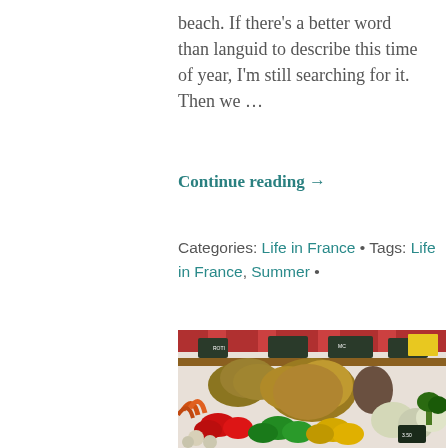beach. If there's a better word than languid to describe this time of year, I'm still searching for it. Then we ...
Continue reading →
Categories: Life in France • Tags: Life in France, Summer •
[Figure (photo): A colorful outdoor market stall displaying a variety of fresh vegetables including red, green and yellow bell peppers, carrots, leafy greens, cabbages and other produce. Market signs and stall canopies are visible in the background.]